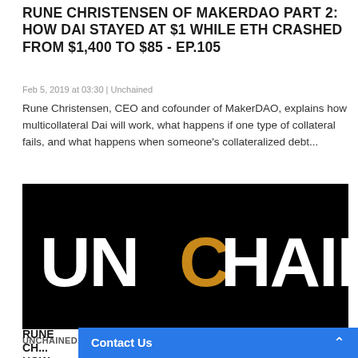RUNE CHRISTENSEN OF MAKERDAO PART 2: HOW DAI STAYED AT $1 WHILE ETH CRASHED FROM $1,400 TO $85 - EP.105
Feb 5, 2019 at 03:30 | Unchained
Rune Christensen, CEO and cofounder of MakerDAO, explains how multicollateral Dai will work, what happens if one type of collateral fails, and what happens when someone's collateralized debt...
[Figure (logo): UNCHAINED podcast logo — white bold text on black background with golden-orange letter C]
UNCHAINED, BITCOIN, BLOCKCHAIN, CRYPTOCURRENCY
RUNE CH... HOW TO...